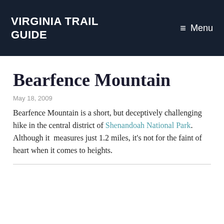VIRGINIA TRAIL GUIDE  ≡ Menu
Bearfence Mountain
May 18, 2009
Bearfence Mountain is a short, but deceptively challenging hike in the central district of Shenandoah National Park.  Although it  measures just 1.2 miles, it's not for the faint of heart when it comes to heights.